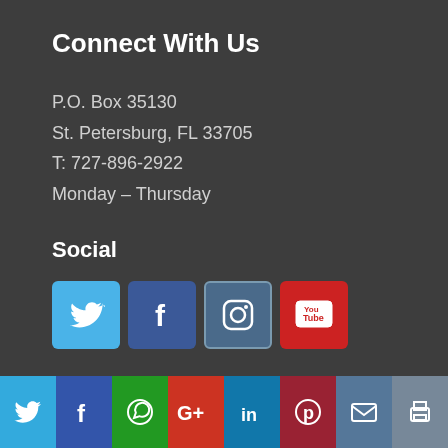Connect With Us
P.O. Box 35130
St. Petersburg, FL 33705
T: 727-896-2922
Monday – Thursday
Social
[Figure (infographic): Social media icons: Twitter (blue bird), Facebook (blue f), Instagram (camera outline), YouTube (red play button)]
Browse This Site
Home
Contact Us
[Figure (infographic): Bottom share bar with icons: Twitter, Facebook, WhatsApp, Google+, LinkedIn, Pinterest, Email, Print, scroll-up button]